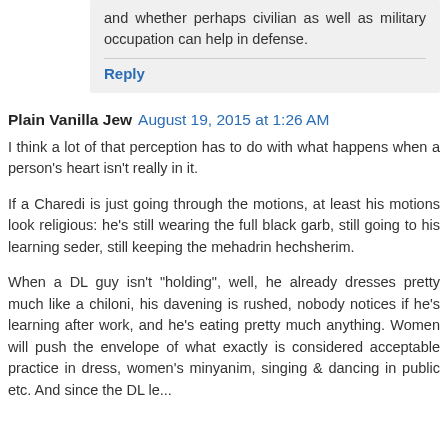and whether perhaps civilian as well as military occupation can help in defense.
Reply
Plain Vanilla Jew  August 19, 2015 at 1:26 AM
I think a lot of that perception has to do with what happens when a person's heart isn't really in it.
If a Charedi is just going through the motions, at least his motions look religious: he's still wearing the full black garb, still going to his learning seder, still keeping the mehadrin hechsherim.
When a DL guy isn't "holding", well, he already dresses pretty much like a chiloni, his davening is rushed, nobody notices if he's learning after work, and he's eating pretty much anything. Women will push the envelope of what exactly is considered acceptable practice in dress, women's minyanim, singing & dancing in public etc. And since the DL leader...